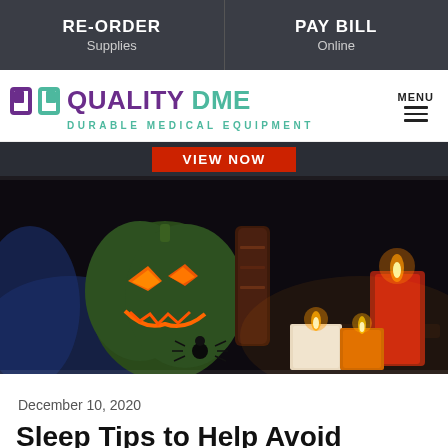RE-ORDER Supplies | PAY BILL Online
[Figure (logo): Quality DME - Durable Medical Equipment logo with teal and purple branding and hamburger menu]
VIEW NOW
[Figure (photo): Dark Halloween-themed photo with a glowing green jack-o-lantern with orange eyes and lit candles]
December 10, 2020
Sleep Tips to Help Avoid Becoming